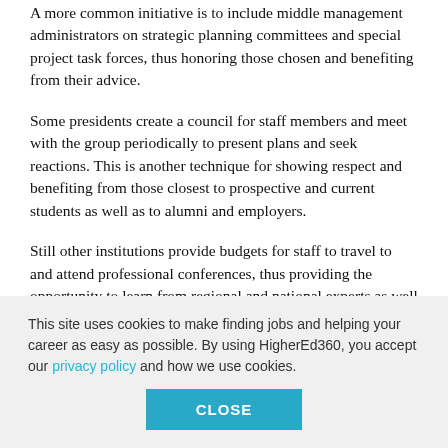A more common initiative is to include middle management administrators on strategic planning committees and special project task forces, thus honoring those chosen and benefiting from their advice.
Some presidents create a council for staff members and meet with the group periodically to present plans and seek reactions. This is another technique for showing respect and benefiting from those closest to prospective and current students as well as to alumni and employers.
Still other institutions provide budgets for staff to travel to and attend professional conferences, thus providing the opportunity to learn from regional and national experts as well as from colleagues at other campuses.
This site uses cookies to make finding jobs and helping your career as easy as possible. By using HigherEd360, you accept our privacy policy and how we use cookies.